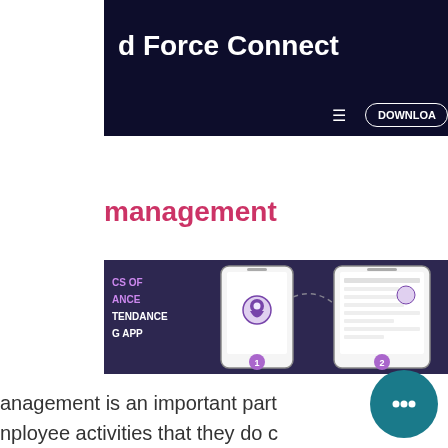d Force Connect
[Figure (screenshot): Mobile app header banner with dark navy background showing 'd Force Connect' title and a DOWNLOAD button with hamburger menu icon]
management
[Figure (screenshot): App screenshots on dark purple background showing two mobile phone screens with location pin icon and a form/list interface, numbered 1 and 2, with text 'CS OF ANCE TENDANCE G APP']
anagement is an important part
nployee activities that they do c